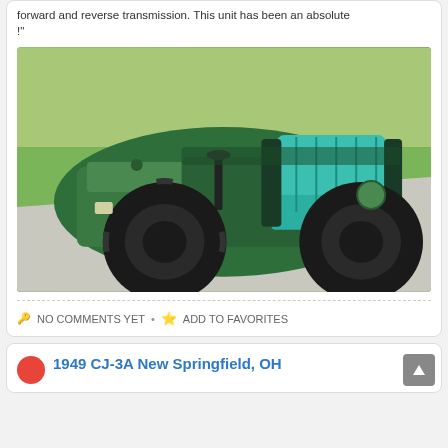forward and reverse transmission. This unit has been an absolute !"
[Figure (photo): A green amphibious off-road vehicle with large balloon tires, teal/turquoise seat upholstery, photographed on a driveway next to grass.]
NO COMMENTS YET • ADD TO FAVORITES
1949 CJ-3A New Springfield, OH